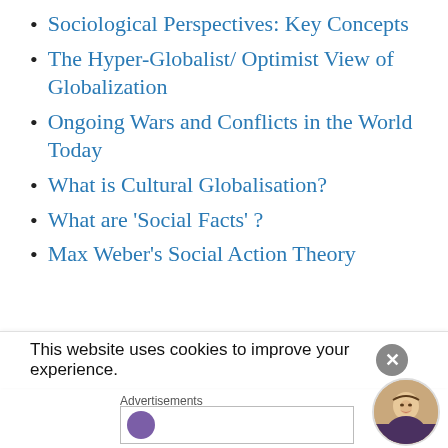Sociological Perspectives: Key Concepts
The Hyper-Globalist/ Optimist View of Globalization
Ongoing Wars and Conflicts in the World Today
What is Cultural Globalisation?
What are 'Social Facts' ?
Max Weber's Social Action Theory
SOCIAL
This website uses cookies to improve your experience.
Advertisements